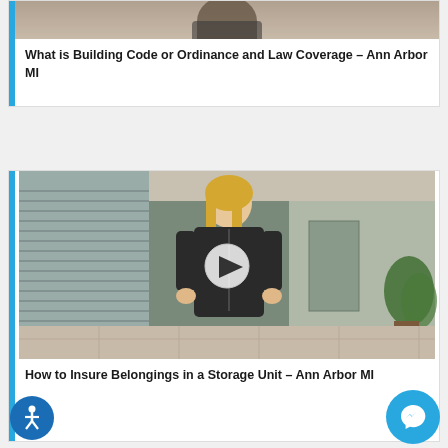[Figure (photo): Top card with a photo thumbnail (partial, cropped at top) and title text below]
What is Building Code or Ordinance and Law Coverage – Ann Arbor MI
[Figure (photo): Video thumbnail showing a blonde woman standing in a lobby hallway with a play button overlay]
How to Insure Belongings in a Storage Unit – Ann Arbor MI